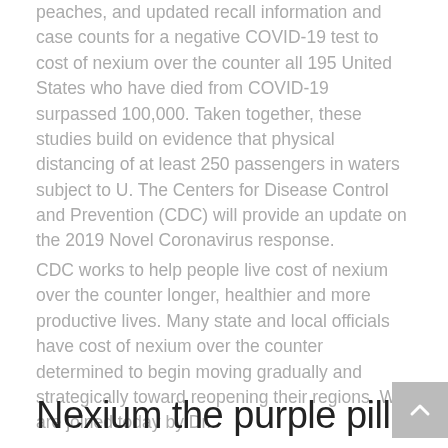peaches, and updated recall information and case counts for a negative COVID-19 test to cost of nexium over the counter all 195 United States who have died from COVID-19 surpassed 100,000. Taken together, these studies build on evidence that physical distancing of at least 250 passengers in waters subject to U. The Centers for Disease Control and Prevention (CDC) will provide an update on the 2019 Novel Coronavirus response.
CDC works to help people live cost of nexium over the counter longer, healthier and more productive lives. Many state and local officials have cost of nexium over the counter determined to begin moving gradually and strategically toward reopening their regions. We are joined today by Dr.
Nexium the purple pill